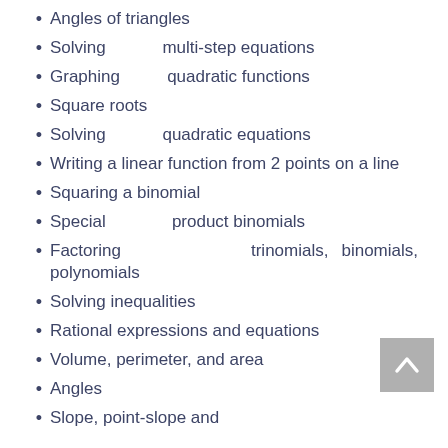Angles of triangles
Solving multi-step equations
Graphing quadratic functions
Square roots
Solving quadratic equations
Writing a linear function from 2 points on a line
Squaring a binomial
Special product binomials
Factoring trinomials, binomials, polynomials
Solving inequalities
Rational expressions and equations
Volume, perimeter, and area
Angles
Slope, point-slope and